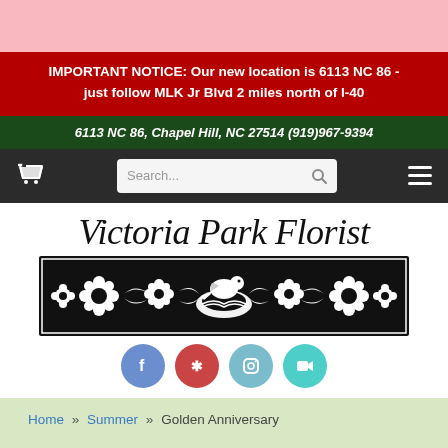IMPORTANT NOTICE: Our new location is 6113 NC 86 - just follow MLK Jr Blvd 2 miles north of I-40
6113 NC 86, Chapel Hill, NC 27514 (919)967-9394
[Figure (screenshot): Navigation bar with cart icon, search box, and hamburger menu on dark background]
Victoria Park Florist
[Figure (illustration): Black and white decorative floral banner with a bird in a nest centered, surrounded by symmetrical leaves and flowers]
[Figure (infographic): Four social media icon circles: Facebook (blue), Yelp (red), Instagram (teal), and a video/teleflora icon (cyan)]
Home » Summer » Golden Anniversary